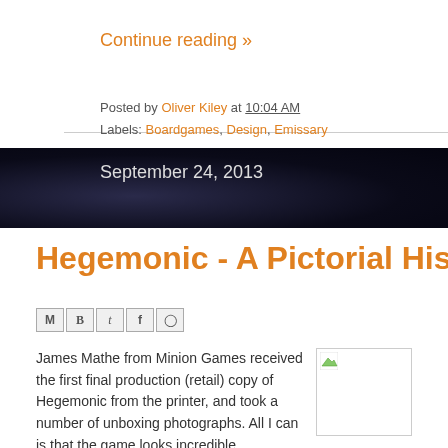Continue reading »
Posted by Oliver Kiley at 10:04 AM
Labels: Boardgames, Design, Emissary
September 24, 2013
Hegemonic - A Pictorial Histor
[Figure (other): Social share buttons: email (M), Blogger (B), Twitter (t), Facebook (f), Pinterest (circle-P)]
James Mathe from Minion Games received the first final production (retail) copy of Hegemonic from the printer, and took a number of unboxing photographs. All I can is that the game looks incredible. Hegemonic is a complex game
[Figure (photo): Small image thumbnail, appears broken/loading with green arrow icon in top-left corner]